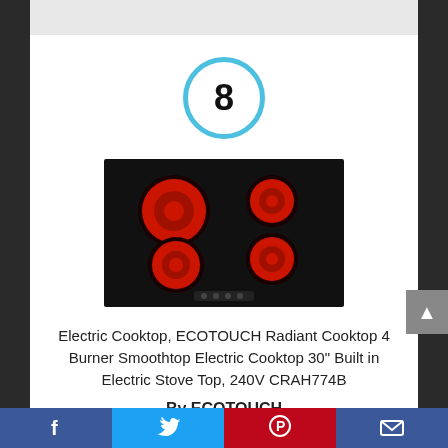[Figure (other): Number 8 inside a light blue circle, indicating the 8th ranked product]
[Figure (photo): Electric cooktop with 4 red radiant burners on a black glass surface - ECOTOUCH CRAH774B]
Electric Cooktop, ECOTOUCH Radiant Cooktop 4 Burner Smoothtop Electric Cooktop 30" Built in Electric Stove Top, 240V CRAH774B
By ECOTOUCH
View Product
Facebook | Twitter | Pinterest | Email